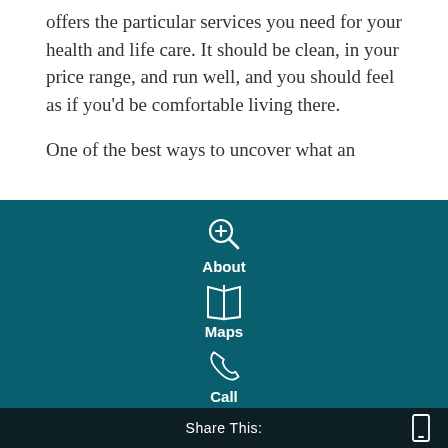offers the particular services you need for your health and life care. It should be clean, in your price range, and run well, and you should feel as if you'd be comfortable living there.

One of the best ways to uncover what an
[Figure (screenshot): Mobile app overlay panel with teal background showing three menu items: About (magnifier with plus icon), Maps (map/fold icon), Call (phone icon), and a partially visible email icon at the bottom]
Share This: